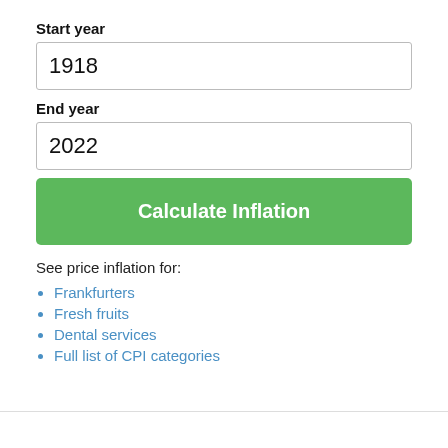Start year
1918
End year
2022
Calculate Inflation
See price inflation for:
Frankfurters
Fresh fruits
Dental services
Full list of CPI categories